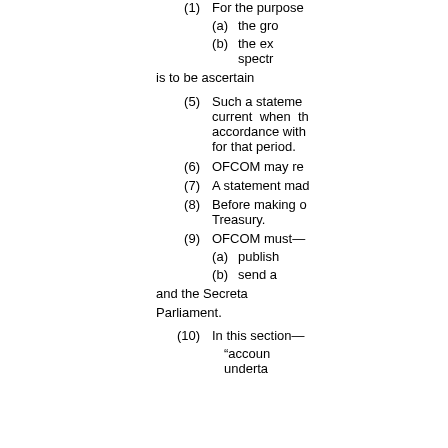(4) For the purposes—
(a) the gr
(b) the ex spectr
is to be ascertain
(5) Such a stateme current when th accordance with for that period.
(6) OFCOM may re
(7) A statement mad
(8) Before making o Treasury.
(9) OFCOM must—
(a) publish
(b) send a
and the Secreta Parliament.
(10) In this section—
"accoun underta